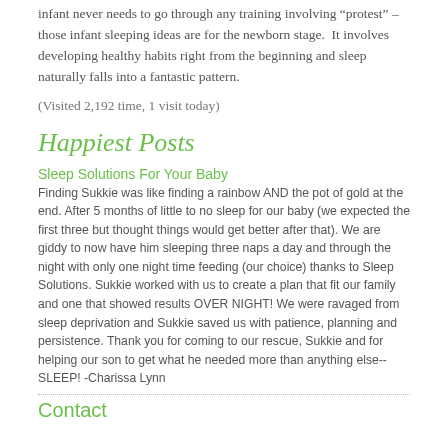infant never needs to go through any training involving “protest” – those infant sleeping ideas are for the newborn stage. It involves developing healthy habits right from the beginning and sleep naturally falls into a fantastic pattern.
(Visited 2,192 time, 1 visit today)
Happiest Posts
Sleep Solutions For Your Baby
Finding Sukkie was like finding a rainbow AND the pot of gold at the end. After 5 months of little to no sleep for our baby (we expected the first three but thought things would get better after that). We are giddy to now have him sleeping three naps a day and through the night with only one night time feeding (our choice) thanks to Sleep Solutions. Sukkie worked with us to create a plan that fit our family and one that showed results OVER NIGHT! We were ravaged from sleep deprivation and Sukkie saved us with patience, planning and persistence. Thank you for coming to our rescue, Sukkie and for helping our son to get what he needed more than anything else--SLEEP! -Charissa Lynn
Contact